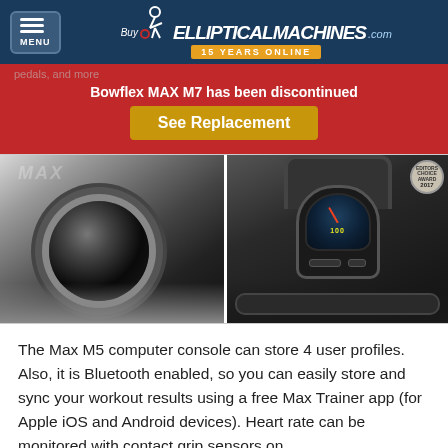Buy Elliptical Machines .com — 15 YEARS ONLINE
pedals, and more
Bowflex MAX M7 has been discontinued
See Replacement
[Figure (photo): Two side-by-side product photos: left shows close-up of elliptical machine flywheel mechanism; right shows the MAX M7 console/display unit with award badge 2017]
The Max M5 computer console can store 4 user profiles. Also, it is Bluetooth enabled, so you can easily store and sync your workout results using a free Max Trainer app (for Apple iOS and Android devices). Heart rate can be monitored with contact grip sensors on